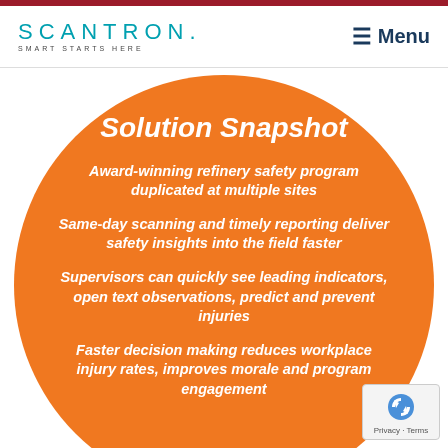SCANTRON. SMART STARTS HERE | Menu
[Figure (infographic): Orange circle containing Solution Snapshot text with four bullet points about refinery safety program features]
Solution Snapshot
Award-winning refinery safety program duplicated at multiple sites
Same-day scanning and timely reporting deliver safety insights into the field faster
Supervisors can quickly see leading indicators, open text observations, predict and prevent injuries
Faster decision making reduces workplace injury rates, improves morale and program engagement